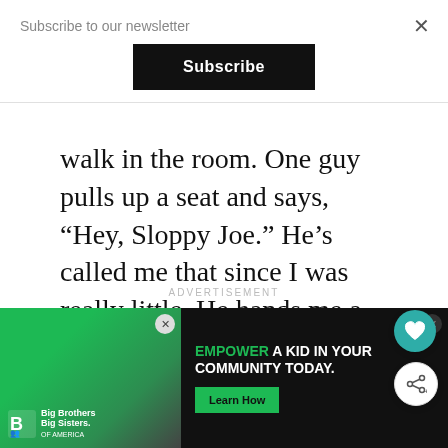Subscribe to our newsletter
Subscribe
walk in the room. One guy pulls up a seat and says, “Hey, Sloppy Joe.” He’s called me that since I was really little. He hands me a piece of garlic bread. The team mom made lasagna. I love lasagna.
ADVERTISEMENT
[Figure (screenshot): Advertisement banner for Big Brothers Big Sisters: 'EMPOWER A KID IN YOUR COMMUNITY TODAY.' with a Learn How button on dark background]